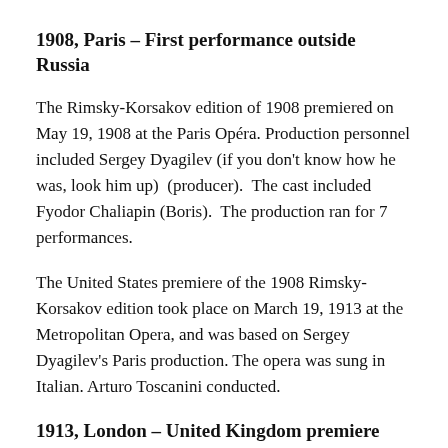1908, Paris – First performance outside Russia
The Rimsky-Korsakov edition of 1908 premiered on May 19, 1908 at the Paris Opéra. Production personnel included Sergey Dyagilev (if you don't know how he was, look him up)  (producer).  The cast included Fyodor Chaliapin (Boris).  The production ran for 7 performances.
The United States premiere of the 1908 Rimsky-Korsakov edition took place on March 19, 1913 at the Metropolitan Opera, and was based on Sergey Dyagilev's Paris production. The opera was sung in Italian. Arturo Toscanini conducted.
1913, London – United Kingdom premiere
The United Kingdom premiere of the 1908 Rimsky-Korsakov edition took place on June 24, 1913 at